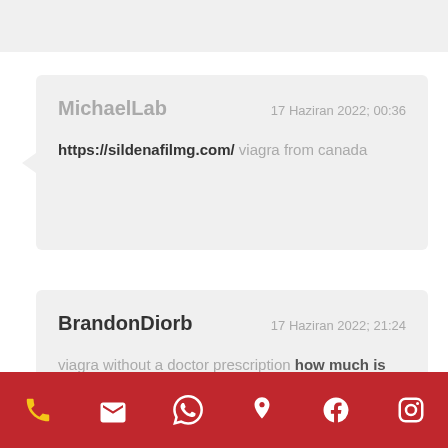MichaelLab   17 Haziran 2022; 00:36
https://sildenafilmg.com/ viagra from canada
BrandonDiorb   17 Haziran 2022; 21:24
viagra without a doctor prescription how much is viagra
phone | email | whatsapp | location | facebook | instagram